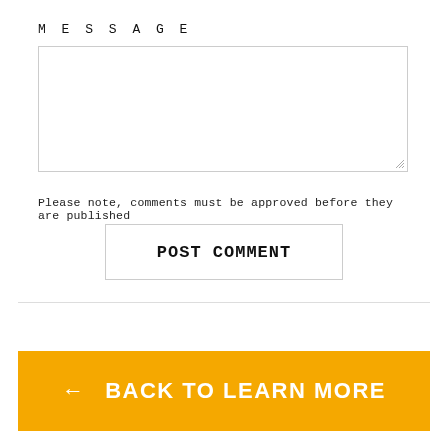MESSAGE
[Figure (other): Empty textarea input box for message entry with resize handle in bottom-right corner]
Please note, comments must be approved before they are published
[Figure (other): POST COMMENT button — rectangular bordered button with bold text]
← BACK TO LEARN MORE